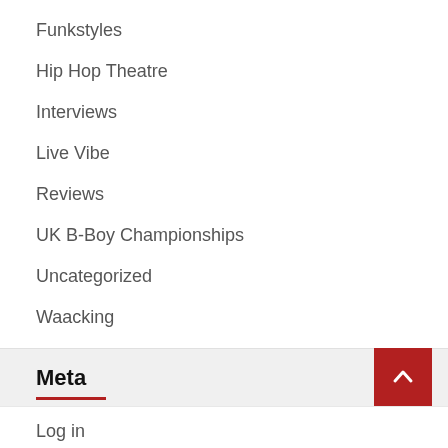Funkstyles
Hip Hop Theatre
Interviews
Live Vibe
Reviews
UK B-Boy Championships
Uncategorized
Waacking
Meta
Log in
Entries feed